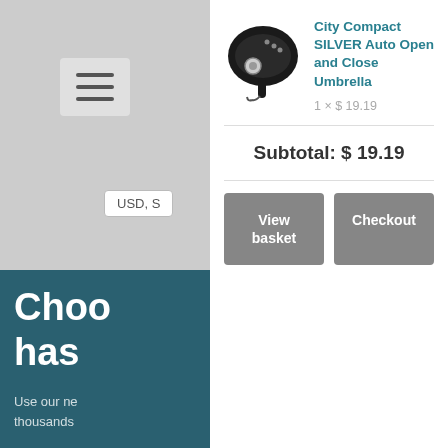[Figure (screenshot): Hamburger menu icon button]
USD, S
Choo
has
Use our ne
thousands
City Compact SILVER Auto Open and Close Umbrella
1 × $ 19.19
Subtotal: $ 19.19
View basket
Checkout